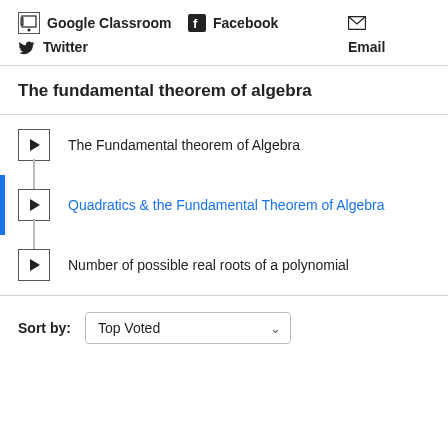Google Classroom   Facebook   Email   Twitter
The fundamental theorem of algebra
The Fundamental theorem of Algebra
Quadratics & the Fundamental Theorem of Algebra
Number of possible real roots of a polynomial
Sort by: Top Voted